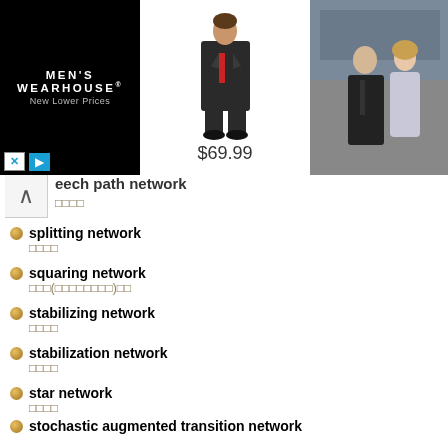[Figure (screenshot): Men's Wearhouse advertisement banner showing logo, suit product at $69.99, and couple in formal wear]
eech path network
□□□□
splitting network
□□□□
squaring network
□□□(□□□□□□□□)□□
stabilizing network
□□□□
stabilization network
□□□□
star network
□□□□
stochastic augmented transition network
□□□□□□□□
structurally dual network
□□□□□□□□
structurally symmetrical network
□□□□□□□□